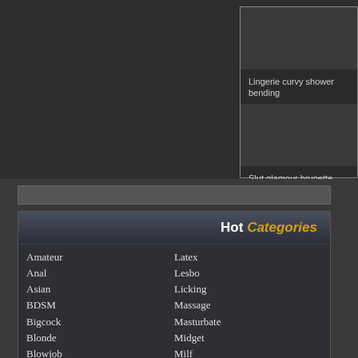[Figure (screenshot): Dark background top section of a website with a thumbnail panel on the right showing two video thumbnails with captions 'Lingerie curvy shower bending' and 'Slut glamour brunette nurse']
Lingerie curvy shower bending
Slut glamour brunette nurse
Hot Categories
Amateur
Anal
Asian
BDSM
Bigcock
Blonde
Blowjob
Boobs
Brunette
Bukkake
Chubby
Cumshot
Latex
Lesbo
Licking
Massage
Masturbate
Midget
Milf
Orgasm
Pantyhose
Penetration
Pissing
Pornostar